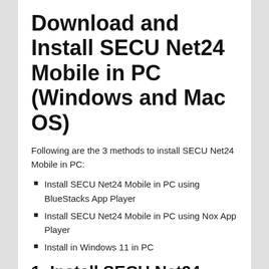Download and Install SECU Net24 Mobile in PC (Windows and Mac OS)
Following are the 3 methods to install SECU Net24 Mobile in PC:
Install SECU Net24 Mobile in PC using BlueStacks App Player
Install SECU Net24 Mobile in PC using Nox App Player
Install in Windows 11 in PC
1. Install SECU Net24 Mobile